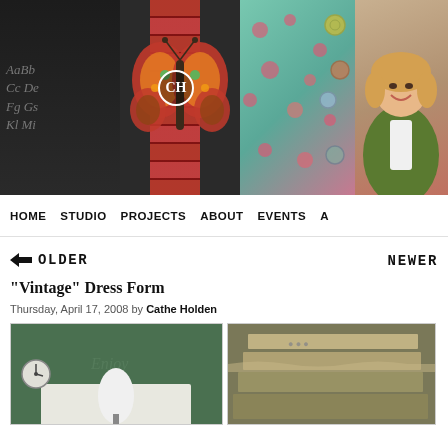[Figure (photo): Website header banner showing a decorative collage with butterfly artwork, vintage labels, floral fabric with buttons, and a woman in a green cardigan smiling, with a 'CH' logo circle overlay]
HOME
STUDIO
PROJECTS
ABOUT
EVENTS
A...
← OLDER
NEWER
"Vintage" Dress Form
Thursday, April 17, 2008 by Cathe Holden
[Figure (photo): Left photo: white dress form mannequin in a room with green wall and clock; Right photo: vintage sewing pattern or fabric pieces stacked]